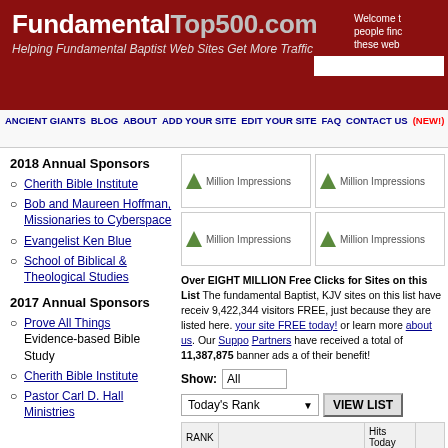FundamentalTop500.com — Helping Fundamental Baptist Web Sites Get More Traffic
ANCIENT GIANTS  BLOG  ABOUT  ADD YOUR SITE  EDIT YOUR SITE  FAQ  CONTACT US (NEW!)
2018 Annual Sponsors
Cherith Bible Institute
Bob and Maureen Hoffman, Missionaries to Cyberspace
Evangelist Ken Blue
School of Biblical & Theological Studies
2017 Annual Sponsors
Prove All Things — Evidence-based Bible Study
Cherith Bible Institute
Pastor Carl D. Hall Ministries
[Figure (other): Four Million Impressions ad placeholders in a 2x2 grid]
Over EIGHT MILLION Free Clicks for Sites on this List! The fundamental Baptist, KJV sites on this list have received 9,422,344 visitors FREE, just because they are listed here. Add your site FREE today! or learn more about us. Our Supporting Partners have received a total of 11,387,875 banner ads as of their benefit!
| RANK |  | Hits Today |  |
| --- | --- | --- | --- |
| 1 | The Sermon Notebook 4.67 stars | 13499 | 14 |
| 2 | Jesus Christ is the Only Way to Heaven! | 1070 | 14 |
| 3 | The Preachers Corner Org. | 914 | 75 |